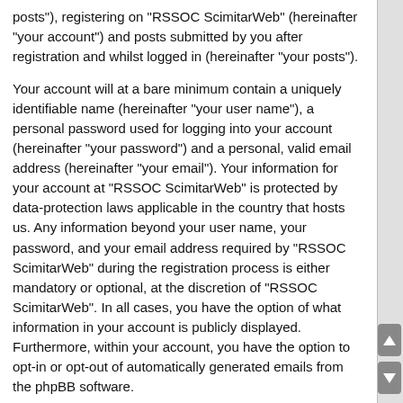posts"), registering on "RSSOC ScimitarWeb" (hereinafter "your account") and posts submitted by you after registration and whilst logged in (hereinafter "your posts").
Your account will at a bare minimum contain a uniquely identifiable name (hereinafter "your user name"), a personal password used for logging into your account (hereinafter "your password") and a personal, valid email address (hereinafter "your email"). Your information for your account at "RSSOC ScimitarWeb" is protected by data-protection laws applicable in the country that hosts us. Any information beyond your user name, your password, and your email address required by "RSSOC ScimitarWeb" during the registration process is either mandatory or optional, at the discretion of "RSSOC ScimitarWeb". In all cases, you have the option of what information in your account is publicly displayed. Furthermore, within your account, you have the option to opt-in or opt-out of automatically generated emails from the phpBB software.
Your password is ciphered (a one-way hash) so that it is secure. However, it is recommended that you do not reuse the same password across a number of different websites. Your password is the means of accessing your account at "RSSOC ScimitarWeb", so please guard it carefully and under no circumstance will anyone affiliated with "RSSOC ScimitarWeb", phpBB or another 3rd party, legitimately ask you for your password. Should you forget your password for your account, you can use the "I forgot my password"